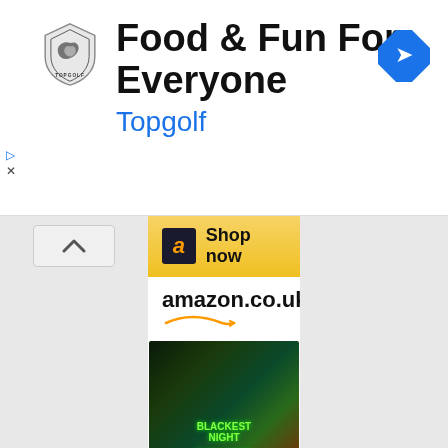[Figure (screenshot): Topgolf advertisement banner with logo, title 'Food & Fun For Everyone', subtitle 'Topgolf', and a blue navigation arrow icon]
[Figure (screenshot): Amazon.co.uk advertisement showing 'Shop now' button, amazon.co.uk branding, product image of Blackest Night Green Lantern comic book, price £19.99 with Prime badge, and a second 'Shop now' button followed by another amazon.co.uk branding and partial Green Lantern product image]